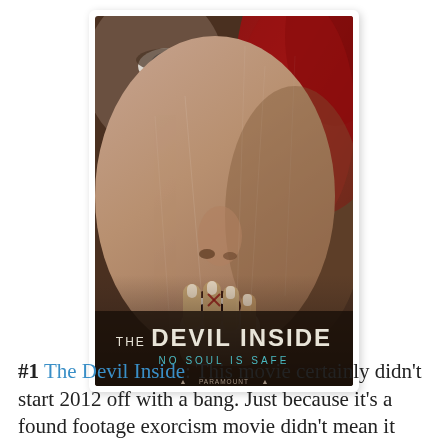[Figure (illustration): Movie poster for 'The Devil Inside' showing a close-up of a woman's distorted face with red hair, biting her fingers, with the title 'THE DEVIL INSIDE' and tagline 'NO SOUL IS SAFE' in dark and teal text at the bottom, Paramount Pictures logo visible.]
#1 The Devil Inside: This movie certainly didn't start 2012 off with a bang. Just because it's a found footage exorcism movie didn't mean it